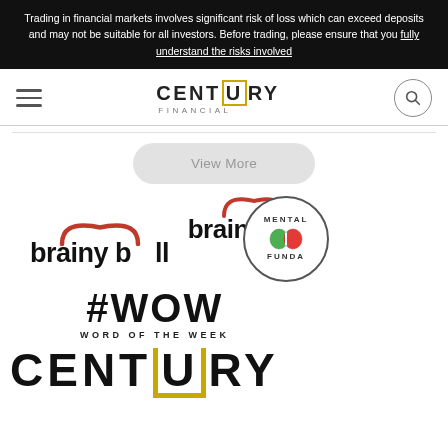Trading in financial markets involves significant risk of loss which can exceed deposits and may not be suitable for all investors. Before trading, please ensure that you fully understand the risks involved
[Figure (logo): Century Financial logo with hamburger menu and search icon in navigation bar]
[Figure (logo): brainy bull logo with red bull horns above the letter U]
[Figure (logo): Mental Funda circular badge logo with brain illustration]
[Figure (logo): #WOW Word of the Week logo]
[Figure (logo): Century Financial footer logo partially visible at bottom]